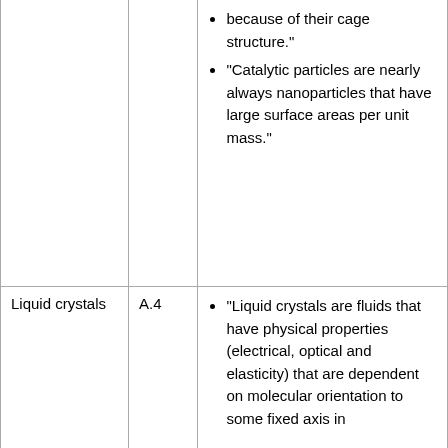|  |  | because of their cage structure."
• "Catalytic particles are nearly always nanoparticles that have large surface areas per unit mass." |
| Liquid crystals | A.4 | "Liquid crystals are fluids that have physical properties (electrical, optical and elasticity) that are dependent on molecular orientation to some fixed axis in |